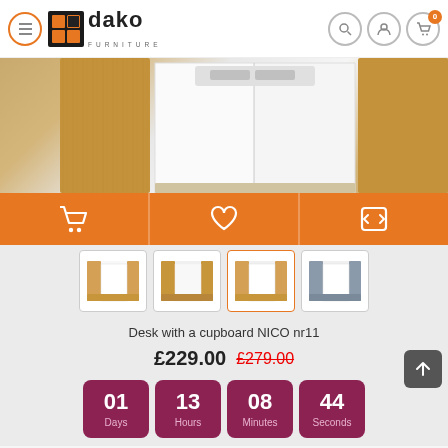[Figure (screenshot): Dako Furniture website header with logo, menu icon, search, account, and cart icons]
[Figure (photo): Partial product photo of a desk with a cupboard NICO nr11, showing oak wood and white panel finish]
[Figure (screenshot): Orange action bar with cart, heart (wishlist), and compare icons]
[Figure (screenshot): Four product thumbnail images of the Desk with a cupboard NICO nr11 in different color variants]
Desk with a cupboard NICO nr11
£229.00 £279.00
01 Days  13 Hours  08 Minutes  44 Seconds